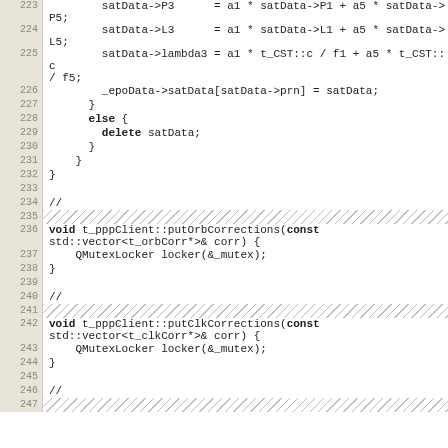[Figure (screenshot): Source code listing showing C++ code for satellite data processing and PPP client correction methods, lines 223-247. Code includes satData assignments, epoData storage, else/delete blocks, and putOrbCorrections/putClkCorrections function definitions with QMutexLocker calls.]